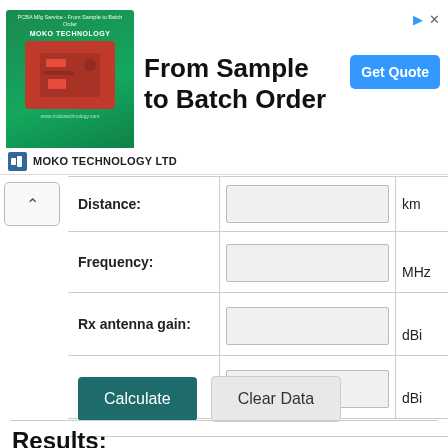[Figure (screenshot): Advertisement banner for MOKO TECHNOLOGY LTD: 'From Sample to Batch Order' with a Get Quote button and close/skip controls. Green ad image on left with red PCB board graphic.]
MOKO TECHNOLOGY LTD
| Label | Input | Unit |
| --- | --- | --- |
| Distance: |  | km |
| Frequency: |  | MHz |
| Rx antenna gain: |  | dBi |
| Tx antenna gain: |  | dBi |
Calculate
Clear Data
Results: